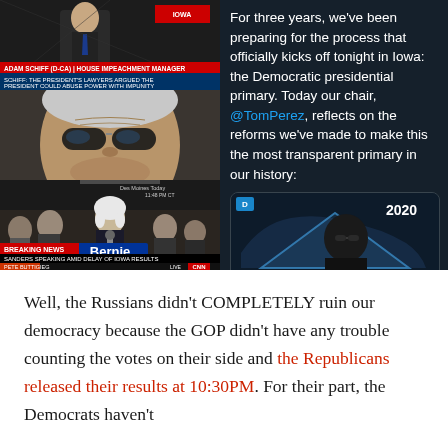[Figure (screenshot): Composite of news screenshots: Fox News showing Adam Schiff impeachment coverage, a close-up of a man with sunglasses, CNN breaking news of Bernie Sanders speaking amid delay of Iowa results]
[Figure (screenshot): Tweet from Democratic Party account saying: For three years, we've been preparing for the process that officially kicks off tonight in Iowa: the Democratic presidential primary. Today our chair, @TomPerez, reflects on the reforms we've made to make this the most transparent primary in our history: [with preview image showing Tom Perez and 2020 map graphic]]
Well, the Russians didn't COMPLETELY ruin our democracy because the GOP didn't have any trouble counting the votes on their side and the Republicans released their results at 10:30PM. For their part, the Democrats haven't